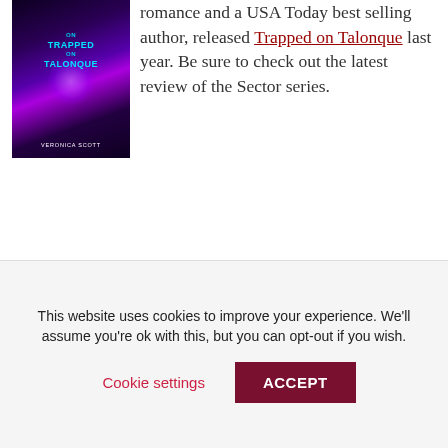[Figure (illustration): Book cover for 'Trapped on Talonque' by Veronica Scott — science fiction romance cover with purple/cosmic artwork and two figures]
romance and a USA Today best selling author, released Trapped on Talonque last year. Be sure to check out the latest review of the Sector series.
A classic everyone that enjoys adventure mixed with romance will like A Kiss at Kilhali by the
This website uses cookies to improve your experience. We'll assume you're ok with this, but you can opt-out if you wish.
Cookie settings  ACCEPT